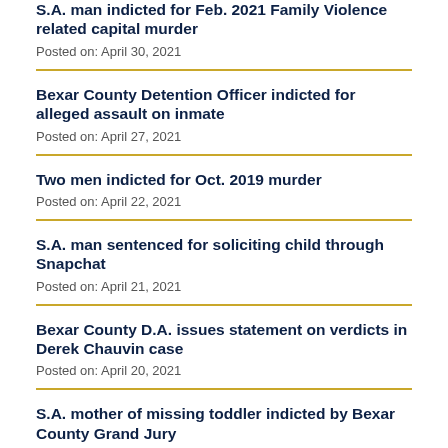S.A. man indicted for Feb. 2021 Family Violence related capital murder
Posted on: April 30, 2021
Bexar County Detention Officer indicted for alleged assault on inmate
Posted on: April 27, 2021
Two men indicted for Oct. 2019 murder
Posted on: April 22, 2021
S.A. man sentenced for soliciting child through Snapchat
Posted on: April 21, 2021
Bexar County D.A. issues statement on verdicts in Derek Chauvin case
Posted on: April 20, 2021
S.A. mother of missing toddler indicted by Bexar County Grand Jury
Posted on: April 20, 2021